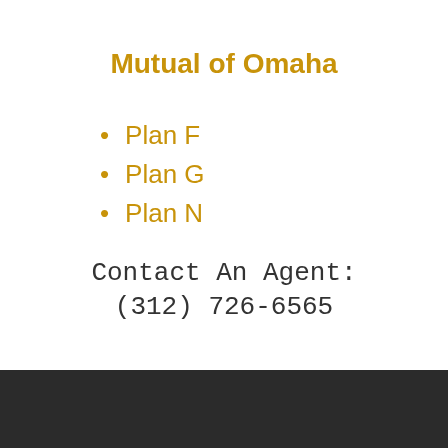Mutual of Omaha
Plan F
Plan G
Plan N
Contact An Agent:
(312) 726-6565